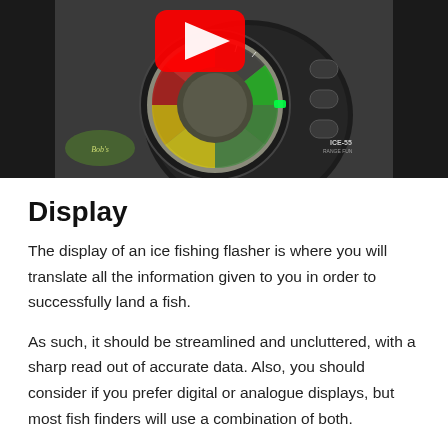[Figure (photo): Photo of an ice fishing flasher device (ICE-55) showing a circular LED display with colored segments (red, yellow, green) and control buttons, placed on a black bag. A YouTube play button watermark is visible in the upper portion.]
Display
The display of an ice fishing flasher is where you will translate all the information given to you in order to successfully land a fish.
As such, it should be streamlined and uncluttered, with a sharp read out of accurate data. Also, you should consider if you prefer digital or analogue displays, but most fish finders will use a combination of both.
Look for easy-to-read displays that are visible in all